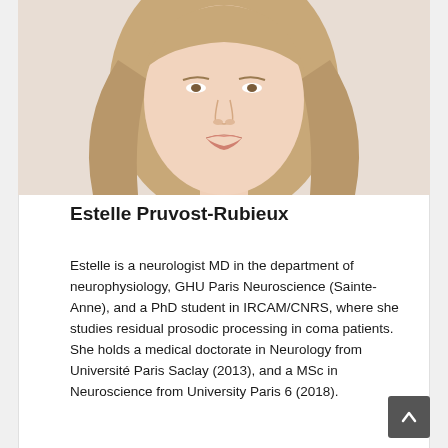[Figure (photo): Headshot portrait of Estelle Pruvost-Rubieux, a woman with long brownish-blonde hair, light skin, photographed from approximately chin to top of head on a light background.]
Estelle Pruvost-Rubieux
Estelle is a neurologist MD in the department of neurophysiology, GHU Paris Neuroscience (Sainte-Anne), and a PhD student in IRCAM/CNRS, where she studies residual prosodic processing in coma patients. She holds a medical doctorate in Neurology from Université Paris Saclay (2013), and a MSc in Neuroscience from University Paris 6 (2018).